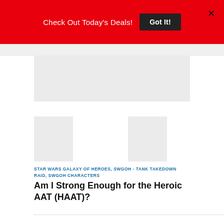Check Out Today's Deals! Got It! ×
[Figure (other): Advertisement placeholder rectangle (gray)]
[Figure (other): Three thumbnail image placeholders side by side]
STAR WARS GALAXY OF HEROES, SWGOH - TANK TAKEDOWN RAID, SWGOH CHARACTERS
Am I Strong Enough for the Heroic AAT (HAAT)?